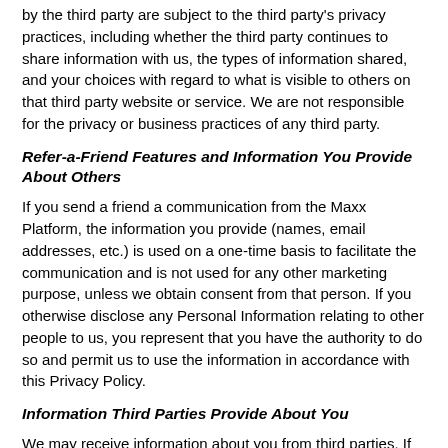by the third party are subject to the third party's privacy practices, including whether the third party continues to share information with us, the types of information shared, and your choices with regard to what is visible to others on that third party website or service. We are not responsible for the privacy or business practices of any third party.
Refer-a-Friend Features and Information You Provide About Others
If you send a friend a communication from the Maxx Platform, the information you provide (names, email addresses, etc.) is used on a one-time basis to facilitate the communication and is not used for any other marketing purpose, unless we obtain consent from that person. If you otherwise disclose any Personal Information relating to other people to us, you represent that you have the authority to do so and permit us to use the information in accordance with this Privacy Policy.
Information Third Parties Provide About You
We may receive information about you from third parties. If you submit an application to us, we may receive information from third parties in relation to processing your leasing application, such as from your current (or former) employer(s), management